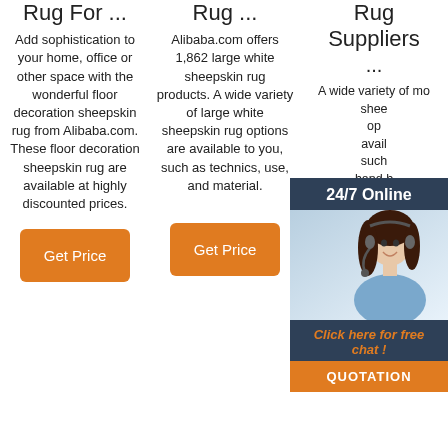Rug For ...
Add sophistication to your home, office or other space with the wonderful floor decoration sheepskin rug from Alibaba.com. These floor decoration sheepskin rug are available at highly discounted prices.
Get Price
Rug ...
Alibaba.com offers 1,862 large white sheepskin rug products. A wide variety of large white sheepskin rug options are available to you, such as technics, use, and material.
Get Price
Rug Suppliers
...
A wide variety of mongolian sheepskin rug options are available to you, such as hand made, and cut pile. You can also choose from home decoration, more... sheepskin rug, as well as from 100% acrylic, 100% polyester, and polyester mongolian
[Figure (photo): Chat support popup overlay with 24/7 Online label, photo of woman with headset, Click here for free chat text, and QUOTATION button]
[Figure (logo): TOP logo with dotted circle in orange]